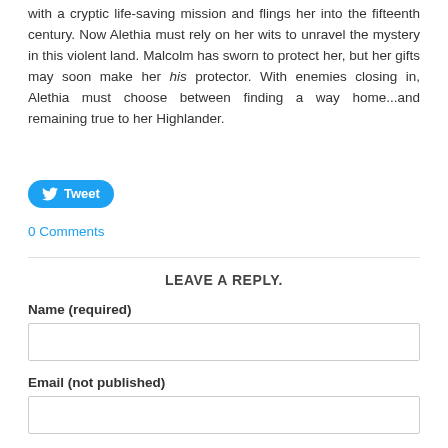with a cryptic life-saving mission and flings her into the fifteenth century. Now Alethia must rely on her wits to unravel the mystery in this violent land. Malcolm has sworn to protect her, but her gifts may soon make her his protector. With enemies closing in, Alethia must choose between finding a way home...and remaining true to her Highlander.
[Figure (other): Tweet button with Twitter bird icon]
0 Comments
LEAVE A REPLY.
Name (required)
Email (not published)
Website